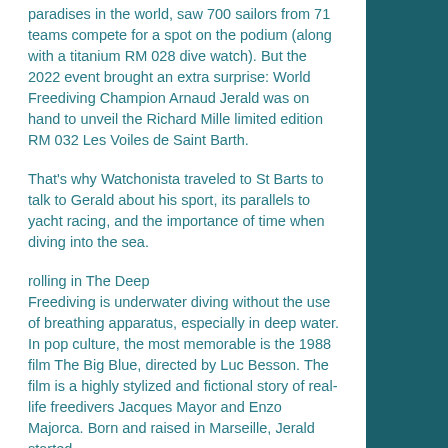paradises in the world, saw 700 sailors from 71 teams compete for a spot on the podium (along with a titanium RM 028 dive watch). But the 2022 event brought an extra surprise: World Freediving Champion Arnaud Jerald was on hand to unveil the Richard Mille limited edition RM 032 Les Voiles de Saint Barth.
That's why Watchonista traveled to St Barts to talk to Gerald about his sport, its parallels to yacht racing, and the importance of time when diving into the sea.
rolling in The Deep
Freediving is underwater diving without the use of breathing apparatus, especially in deep water. In pop culture, the most memorable is the 1988 film The Big Blue, directed by Luc Besson. The film is a highly stylized and fictional story of real-life freedivers Jacques Mayor and Enzo Majorca. Born and raised in Marseille, Jerald started